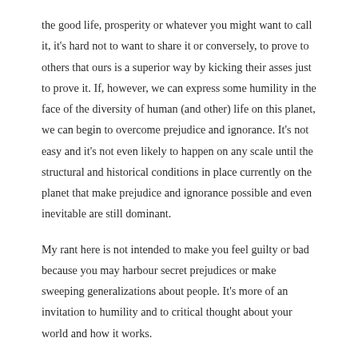the good life, prosperity or whatever you might want to call it, it's hard not to want to share it or conversely, to prove to others that ours is a superior way by kicking their asses just to prove it. If, however, we can express some humility in the face of the diversity of human (and other) life on this planet, we can begin to overcome prejudice and ignorance. It's not easy and it's not even likely to happen on any scale until the structural and historical conditions in place currently on the planet that make prejudice and ignorance possible and even inevitable are still dominant.
My rant here is not intended to make you feel guilty or bad because you may harbour secret prejudices or make sweeping generalizations about people. It's more of an invitation to humility and to critical thought about your world and how it works.
If you ever get a chance, watch a 2003 documentary film called Flick From Dark: The Case for I... and beautifully...